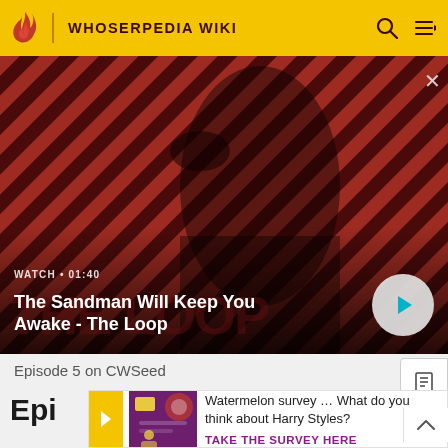WHOSERPEDIA WIKI
[Figure (screenshot): Hero banner showing The Sandman character in dark cloak with raven on shoulder against red/dark diagonal striped background. Shows video thumbnail with WATCH • 01:40 label and title 'The Sandman Will Keep You Awake - The Loop' with play button.]
WATCH • 01:40
The Sandman Will Keep You Awake - The Loop
Episode 5 on CWSeed
Epi
Watermelon survey … What do you think about Harry Styles?
TAKE THE SURVEY HERE